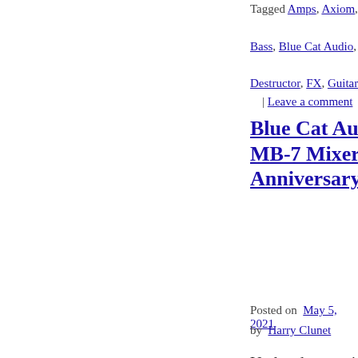Tagged Amps, Axiom, Bass, Blue Cat Audio, Destructor, FX, Guitar | Leave a comment
Blue Cat Audio MB-7 Mixer 10th Anniversary update
Posted on May 5, 2021
by Harry Clunet
Updated to version 3.4 with a promo GET IT NOW Blue Cat